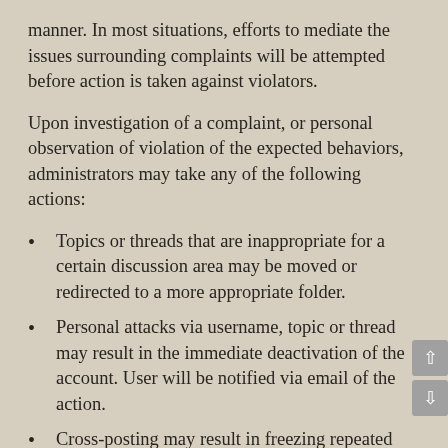manner. In most situations, efforts to mediate the issues surrounding complaints will be attempted before action is taken against violators.
Upon investigation of a complaint, or personal observation of violation of the expected behaviors, administrators may take any of the following actions:
Topics or threads that are inappropriate for a certain discussion area may be moved or redirected to a more appropriate folder.
Personal attacks via username, topic or thread may result in the immediate deactivation of the account. User will be notified via email of the action.
Cross-posting may result in freezing repeated threads with a message notifying users to continue in one appropriate thread. The original cross-posting user will be notified of the action via email and reminded of the community guidelines against cross-posting.
Topics or threads that do not adhere to our